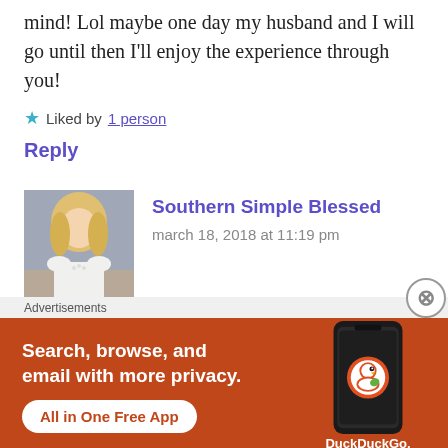mind! Lol maybe one day my husband and I will go until then I'll enjoy the experience through you!
Liked by 1 person
Reply
[Figure (photo): Avatar photo of a blonde woman in a white top]
Southern Simple Blessed
march 18, 2018 at 11:19 pm
I believe you would love it! Lots to do on the
Advertisements
[Figure (infographic): DuckDuckGo advertisement banner: Search, browse, and email with more privacy. All in One Free App. Shows phone with DuckDuckGo logo.]